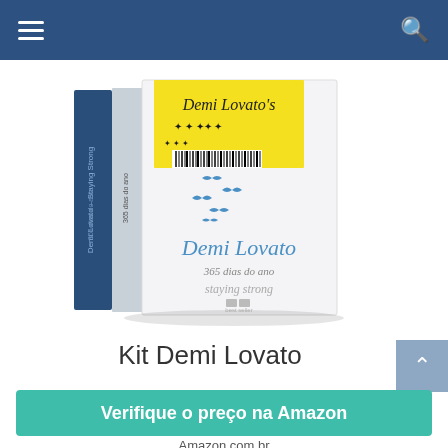navigation bar with hamburger menu and search icon
[Figure (photo): Kit Demi Lovato book set — two books shown: front cover of 'Demi Lovato 365 dias do ano staying strong' with bird illustrations and yellow barcode sticker, and two spines showing '365 dias do ano' and 'Staying Strong'.]
Kit Demi Lovato
Verifique o preço na Amazon
Amazon.com.br